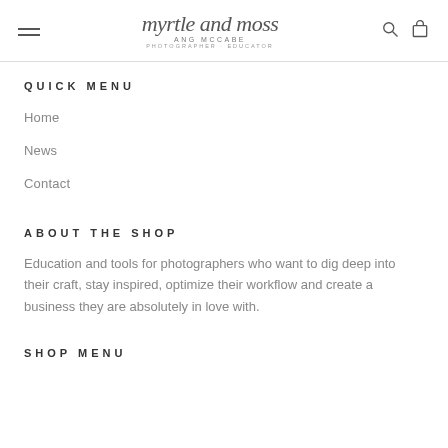myrtle and moss — ANG McCABE — PHOTOGRAPHER · EDUCATOR
QUICK MENU
Home
News
Contact
ABOUT THE SHOP
Education and tools for photographers who want to dig deep into their craft, stay inspired, optimize their workflow and create a business they are absolutely in love with.
SHOP MENU